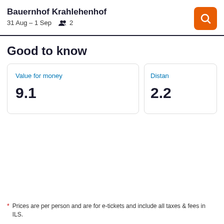Bauernhof Krahlehenhof
31 Aug – 1 Sep   2
Value for money
9.1
Distan
2.2
* Prices are per person and are for e-tickets and include all taxes & fees in ILS.